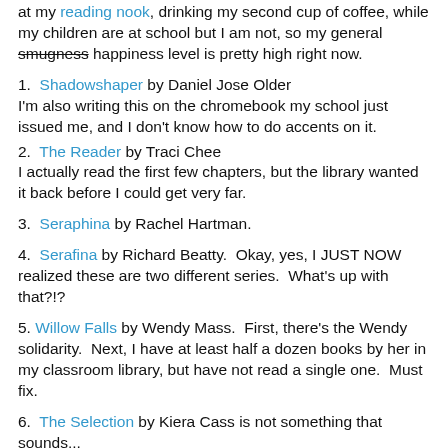at my reading nook, drinking my second cup of coffee, while my children are at school but I am not, so my general smugness happiness level is pretty high right now.
1. Shadowshaper by Daniel Jose Older
I'm also writing this on the chromebook my school just issued me, and I don't know how to do accents on it.
2. The Reader by Traci Chee
I actually read the first few chapters, but the library wanted it back before I could get very far.
3. Seraphina by Rachel Hartman.
4. Serafina by Richard Beatty.  Okay, yes, I JUST NOW realized these are two different series.  What's up with that?!?
5. Willow Falls by Wendy Mass.  First, there's the Wendy solidarity.  Next, I have at least half a dozen books by her in my classroom library, but have not read a single one.  Must fix.
6. The Selection by Kiera Cass is not something that sounds...